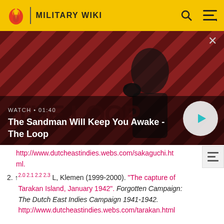MILITARY WIKI
[Figure (screenshot): Video thumbnail for 'The Sandman Will Keep You Awake - The Loop'. Dark figure with a raven on shoulder against red and black diagonal stripe background. Label shows WATCH • 01:40 with a play button.]
http://www.dutcheastindies.webs.com/sakaguchi.html.
2. ↑ 2.0 2.1 2.2 2.3 L, Klemen (1999-2000). "The capture of Tarakan Island, January 1942". Forgotten Campaign: The Dutch East Indies Campaign 1941-1942. http://www.dutcheastindies.webs.com/tarakan.html